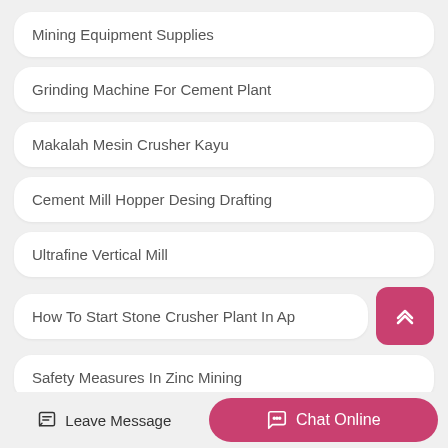Mining Equipment Supplies
Grinding Machine For Cement Plant
Makalah Mesin Crusher Kayu
Cement Mill Hopper Desing Drafting
Ultrafine Vertical Mill
How To Start Stone Crusher Plant In Ap
Safety Measures In Zinc Mining
Leave Message  Chat Online